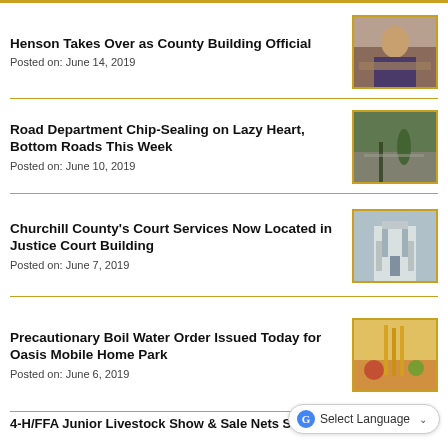Henson Takes Over as County Building Official
Posted on: June 14, 2019
[Figure (photo): Person at a desk with blueprints or documents]
Road Department Chip-Sealing on Lazy Heart, Bottom Roads This Week
Posted on: June 10, 2019
[Figure (photo): Road workers chip-sealing a road]
Churchill County's Court Services Now Located in Justice Court Building
Posted on: June 7, 2019
[Figure (photo): Justice Court Building exterior]
Precautionary Boil Water Order Issued Today for Oasis Mobile Home Park
Posted on: June 6, 2019
[Figure (photo): Pasta being cooked in boiling water]
4-H/FFA Junior Livestock Show & Sale Nets Scholarship Funds